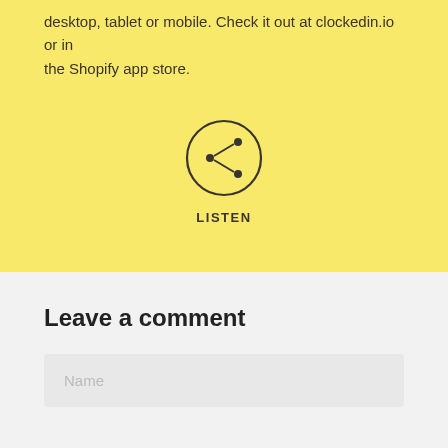desktop, tablet or mobile. Check it out at clockedin.io or in the Shopify app store.
[Figure (illustration): A circular icon with a share/listen symbol (three connected dots) inside, with the label LISTEN below it.]
Leave a comment
Name